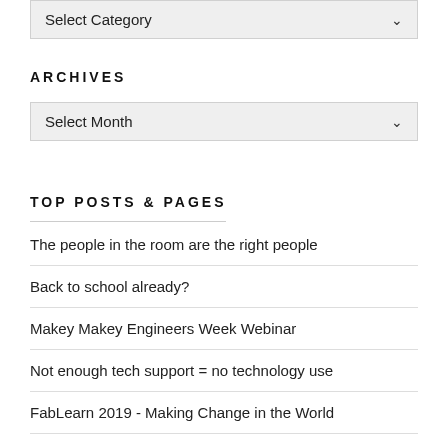[Figure (screenshot): Dropdown selector showing 'Select Category' with chevron arrow, grey background]
ARCHIVES
[Figure (screenshot): Dropdown selector showing 'Select Month' with chevron arrow, grey background]
TOP POSTS & PAGES
The people in the room are the right people
Back to school already?
Makey Makey Engineers Week Webinar
Not enough tech support = no technology use
FabLearn 2019 - Making Change in the World
The ISTE opening keynote - what I wish had been said